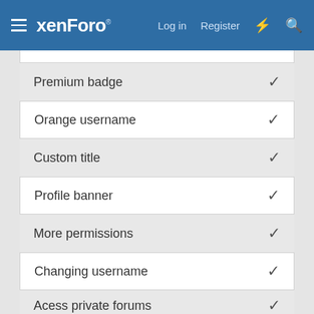[Figure (screenshot): XenForo navigation header with hamburger menu, logo, Log in, Register, lightning bolt, and search icons]
Premium badge ✓
Orange username ✓
Custom title ✓
Profile banner ✓
More permissions ✓
Changing username ✓
Acess private forums ✓
PREMIUM